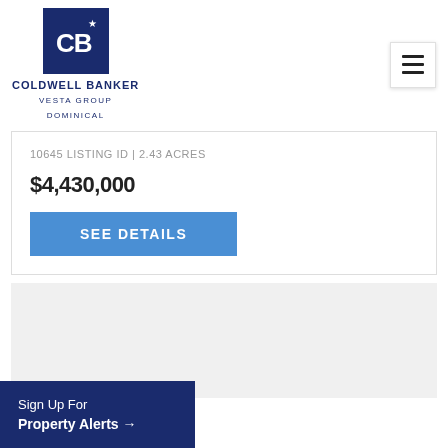[Figure (logo): Coldwell Banker Vesta Group Dominical logo with CB monogram in dark blue box and hamburger menu icon]
10645 LISTING ID | 2.43 ACRES
$4,430,000
SEE DETAILS
[Figure (other): Light gray placeholder section]
Sign Up For
Property Alerts →